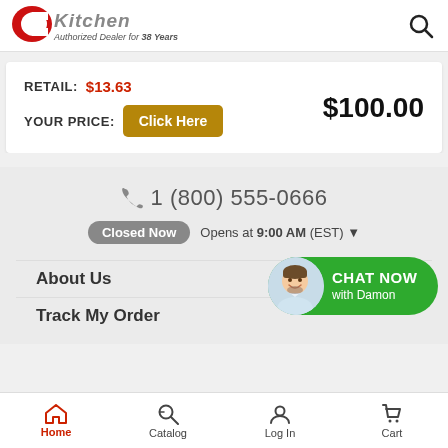[Figure (logo): CKitchen logo with red C and metallic Kitchen text, Authorized Dealer for 38 Years tagline]
RETAIL: $13.63
YOUR PRICE: Click Here
$100.00
1 (800) 555-0666
Closed Now  Opens at 9:00 AM (EST) ▼
About Us
Track My Order
[Figure (photo): Chat now with Damon button with avatar photo of smiling man]
Home  Catalog  Log In  Cart